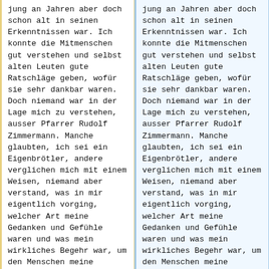jung an Jahren aber doch schon alt in seinen Erkenntnissen war. Ich konnte die Mitmenschen gut verstehen und selbst alten Leuten gute Ratschläge geben, wofür sie sehr dankbar waren. Doch niemand war in der Lage mich zu verstehen, ausser Pfarrer Rudolf Zimmermann. Manche glaubten, ich sei ein Eigenbrötler, andere verglichen mich mit einem Weisen, niemand aber verstand, was in mir eigentlich vorging, welcher Art meine Gedanken und Gefühle waren und was mein wirkliches Begehr war, um den Menschen meine Erkenntnisse und mein
jung an Jahren aber doch schon alt in seinen Erkenntnissen war. Ich konnte die Mitmenschen gut verstehen und selbst alten Leuten gute Ratschläge geben, wofür sie sehr dankbar waren. Doch niemand war in der Lage mich zu verstehen, ausser Pfarrer Rudolf Zimmermann. Manche glaubten, ich sei ein Eigenbrötler, andere verglichen mich mit einem Weisen, niemand aber verstand, was in mir eigentlich vorging, welcher Art meine Gedanken und Gefühle waren und was mein wirkliches Begehr war, um den Menschen meine Erkenntnisse und mein